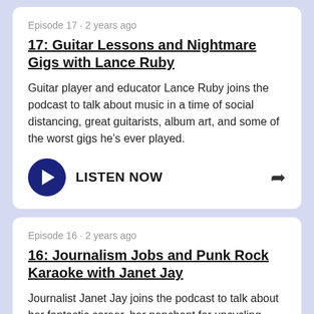Episode 17 · 2 years ago
17: Guitar Lessons and Nightmare Gigs with Lance Ruby
Guitar player and educator Lance Ruby joins the podcast to talk about music in a time of social distancing, great guitarists, album art, and some of the worst gigs he's ever played.
LISTEN NOW
Episode 16 · 2 years ago
16: Journalism Jobs and Punk Rock Karaoke with Janet Jay
Journalist Janet Jay joins the podcast to talk about her fantastic career, her penchant for upcycling, and the best tunes to choose for punk rock karaoke.